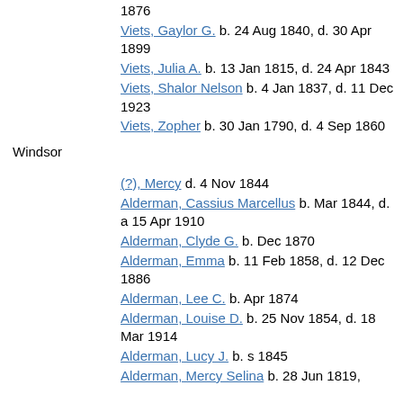Phelps, Lyman  b. 19 Jun 1785, d. 9 May 1875
Phelps, Sophia M.  b. 30 May 1832, d. 6 Feb 1876
Viets, Gaylor G.  b. 24 Aug 1840, d. 30 Apr 1899
Viets, Julia A.  b. 13 Jan 1815, d. 24 Apr 1843
Viets, Shalor Nelson  b. 4 Jan 1837, d. 11 Dec 1923
Viets, Zopher  b. 30 Jan 1790, d. 4 Sep 1860
Windsor
(?), Mercy  d. 4 Nov 1844
Alderman, Cassius Marcellus  b. Mar 1844, d. a 15 Apr 1910
Alderman, Clyde G.  b. Dec 1870
Alderman, Emma  b. 11 Feb 1858, d. 12 Dec 1886
Alderman, Lee C.  b. Apr 1874
Alderman, Louise D.  b. 25 Nov 1854, d. 18 Mar 1914
Alderman, Lucy J.  b. s 1845
Alderman, Mercy Selina  b. 28 Jun 1819,